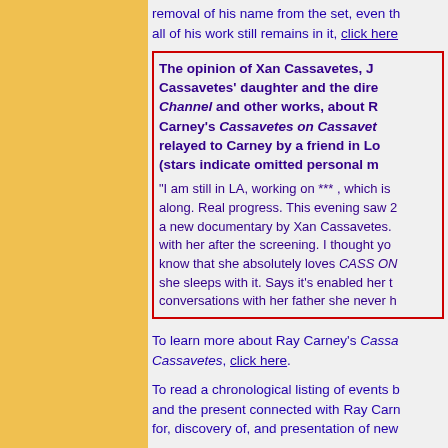removal of his name from the set, even th all of his work still remains in it, click here
The opinion of Xan Cassavetes, Jo Cassavetes' daughter and the dire Channel and other works, about R Carney's Cassavetes on Cassave relayed to Carney by a friend in Lo (stars indicate omitted personal m
"I am still in LA, working on *** , which is along. Real progress. This evening saw 2 a new documentary by Xan Cassavetes. with her after the screening. I thought yo know that she absolutely loves CASS ON she sleeps with it. Says it's enabled her t conversations with her father she never h
To learn more about Ray Carney's Cassa Cassavetes, click here.
To read a chronological listing of events b and the present connected with Ray Carn for, discovery of, and presentation of new